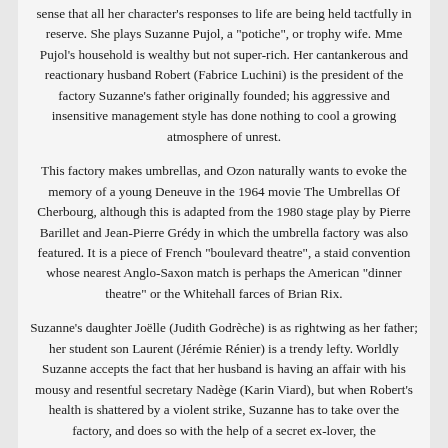sense that all her character's responses to life are being held tactfully in reserve. She plays Suzanne Pujol, a "potiche", or trophy wife. Mme Pujol's household is wealthy but not super-rich. Her cantankerous and reactionary husband Robert (Fabrice Luchini) is the president of the factory Suzanne's father originally founded; his aggressive and insensitive management style has done nothing to cool a growing atmosphere of unrest.
This factory makes umbrellas, and Ozon naturally wants to evoke the memory of a young Deneuve in the 1964 movie The Umbrellas Of Cherbourg, although this is adapted from the 1980 stage play by Pierre Barillet and Jean-Pierre Grédy in which the umbrella factory was also featured. It is a piece of French "boulevard theatre", a staid convention whose nearest Anglo-Saxon match is perhaps the American "dinner theatre" or the Whitehall farces of Brian Rix.
Suzanne's daughter Joëlle (Judith Godrèche) is as rightwing as her father; her student son Laurent (Jérémie Rénier) is a trendy lefty. Worldly Suzanne accepts the fact that her husband is having an affair with his mousy and resentful secretary Nadège (Karin Viard), but when Robert's health is shattered by a violent strike, Suzanne has to take over the factory, and does so with the help of a secret ex-lover, the